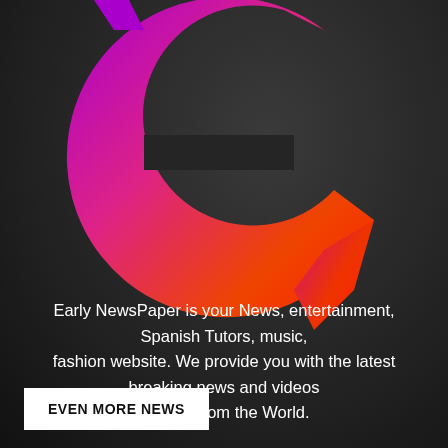[Figure (logo): Large stylized 'e' logo with gradient from purple/magenta on left to orange/red on right, forming a circular arrow shape on a dark background]
Early NewsPaper is your News, entertainment, Spanish Tutors, music, fashion website. We provide you with the latest breaking news and videos straight from the World.
EVEN MORE NEWS